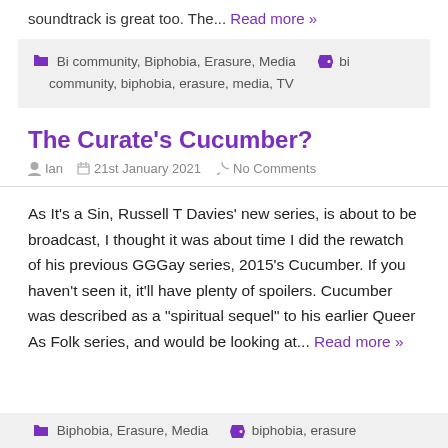soundtrack is great too. The... Read more »
Bi community, Biphobia, Erasure, Media   bi community, biphobia, erasure, media, TV
The Curate's Cucumber?
Ian  21st January 2021  No Comments
As It's a Sin, Russell T Davies' new series, is about to be broadcast, I thought it was about time I did the rewatch of his previous GGGay series, 2015's Cucumber. If you haven't seen it, it'll have plenty of spoilers. Cucumber was described as a "spiritual sequel" to his earlier Queer As Folk series, and would be looking at... Read more »
Biphobia, Erasure, Media   biphobia, erasure